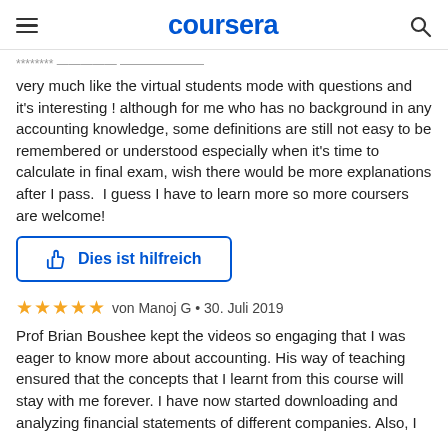coursera
very much like the virtual students mode with questions and it's interesting ! although for me who has no background in any accounting knowledge, some definitions are still not easy to be remembered or understood especially when it's time to calculate in final exam, wish there would be more explanations after I pass.  I guess I have to learn more so more coursers are welcome!
Dies ist hilfreich
von Manoj G • 30. Juli 2019
Prof Brian Boushee kept the videos so engaging that I was eager to know more about accounting. His way of teaching ensured that the concepts that I learnt from this course will stay with me forever. I have now started downloading and analyzing financial statements of different companies. Also, I